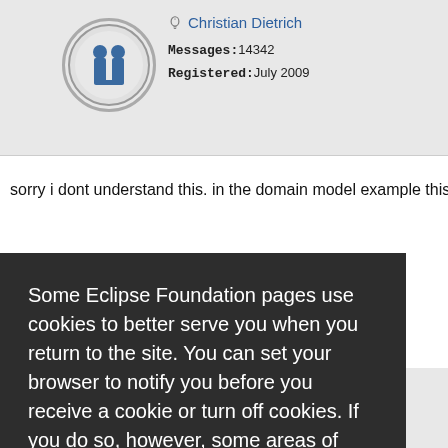[Figure (screenshot): User profile avatar icon with blue 'i' symbol in a circle]
Christian Dietrich
Messages: 14342
Registered: July 2009
sorry i dont understand this. in the domain model example this wo
Some Eclipse Foundation pages use cookies to better serve you when you return to the site. You can set your browser to notify you before you receive a cookie or turn off cookies. If you do so, however, some areas of some sites may not function properly. To read Eclipse Foundation Privacy Policy
click here.
Decline
Allow cookies
25 is a rep
Messages: 14342
Registered: July 2009